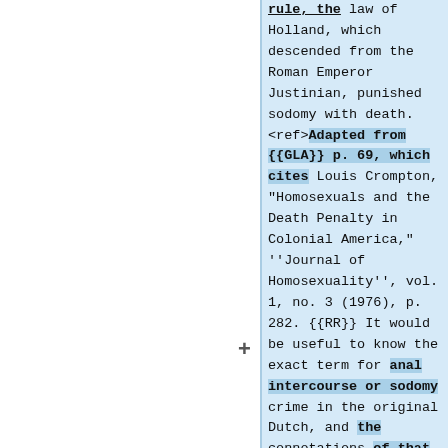rule, the law of Holland, which descended from the Roman Emperor Justinian, punished sodomy with death. <ref>Adapted from {{GLA}} p. 69, which cites Louis Crompton, "Homosexuals and the Death Penalty in Colonial America," ''Journal of Homosexuality'', vol. 1, no. 3 (1976), p. 282. {{RR}} It would be useful to know the exact term for anal intercourse or sodomy crime in the original Dutch, and the connotations of that